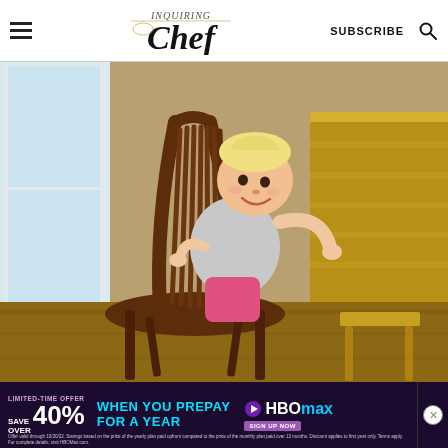Inquiring Chef — SUBSCRIBE
[Figure (photo): A toddler with blonde hair peeking through the spindles of a wooden Windsor-style chair, smiling, sitting between dining chairs on a wood floor near a window.]
[Figure (infographic): HBO Max advertisement banner: LIMITED-TIME OFFER — SAVE OVER 40% WHEN YOU PREPAY FOR A YEAR. HBO Max logo with sign up now button. Fine print below.]